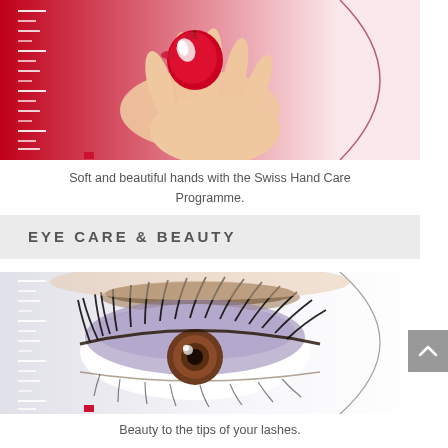[Figure (photo): Promotional image of elegant hands holding a red apple with a bright star highlight, set against a red gradient background, with white dashes forming a scale pattern on the left side and a curved red line element on the right.]
Soft and beautiful hands with the Swiss Hand Care Programme.
EYE CARE & BEAUTY
[Figure (photo): Close-up promotional image of a woman's eye with dramatic eye makeup including heavy mascara and eyelashes, set against a white background, with white dashes forming a scale pattern on the left side and a curved dark line element on the right.]
Beauty to the tips of your lashes.